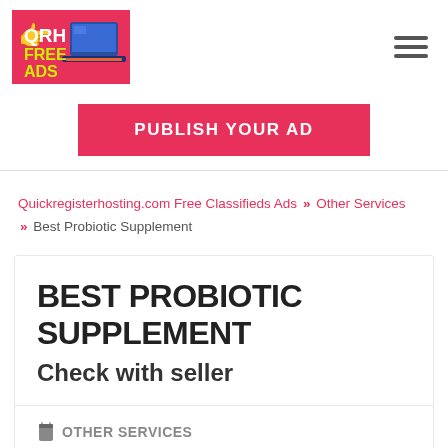[Figure (logo): QRH Free Ads logo with pink/red background, white text 'QRH', green text 'FREE ADS', and a laptop graphic]
PUBLISH YOUR AD
Quickregisterhosting.com Free Classifieds Ads » Other Services » Best Probiotic Supplement
BEST PROBIOTIC SUPPLEMENT
Check with seller
OTHER SERVICES   DECEMBER 13, 2021   1